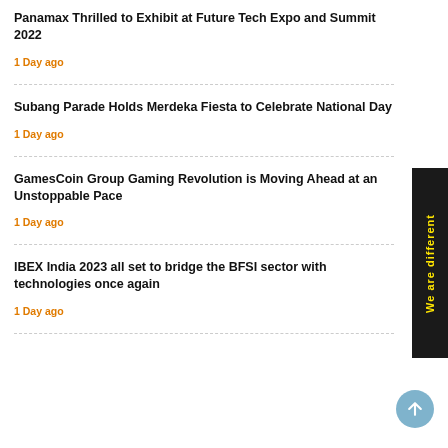Panamax Thrilled to Exhibit at Future Tech Expo and Summit 2022
1 Day ago
Subang Parade Holds Merdeka Fiesta to Celebrate National Day
1 Day ago
GamesCoin Group Gaming Revolution is Moving Ahead at an Unstoppable Pace
1 Day ago
IBEX India 2023 all set to bridge the BFSI sector with technologies once again
1 Day ago
[Figure (other): Yellow text 'We are different' on black vertical side banner]